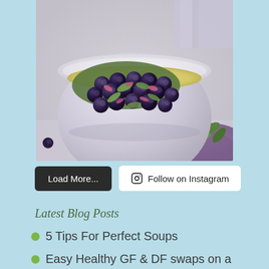[Figure (photo): A white ceramic bowl filled with fresh blueberries, green leaves, and pink flower petals/radish pieces on a light surface with a purple napkin in the background]
Load More...
Follow on Instagram
Latest Blog Posts
5 Tips For Perfect Soups
Easy Healthy GF & DF swaps on a